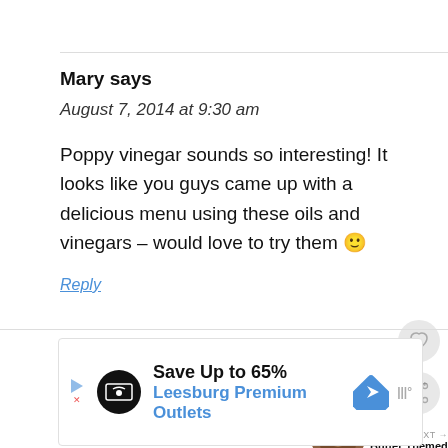Mary says
August 7, 2014 at 9:30 am
Poppy vinegar sounds so interesting! It looks like you guys came up with a delicious menu using these oils and vinegars – would love to try them 🙂
Reply
[Figure (screenshot): Ad banner: Save Up to 65% Leesburg Premium Outlets with navigation and weather icons]